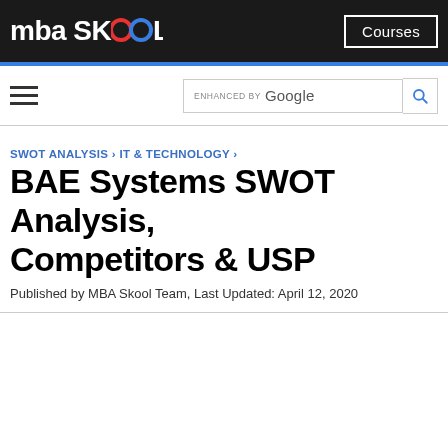mba SKOOL | Courses
SWOT ANALYSIS › IT & TECHNOLOGY ›
BAE Systems SWOT Analysis, Competitors & USP
Published by MBA Skool Team, Last Updated: April 12, 2020